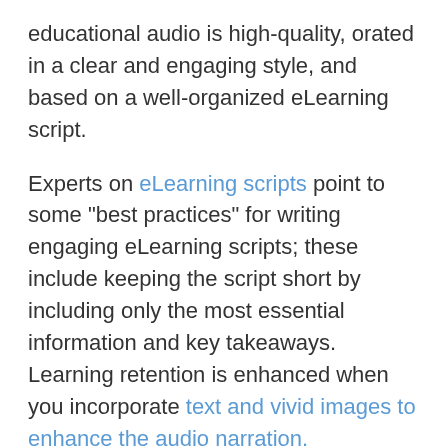educational audio is high-quality, orated in a clear and engaging style, and based on a well-organized eLearning script.
Experts on eLearning scripts point to some "best practices" for writing engaging eLearning scripts; these include keeping the script short by including only the most essential information and key takeaways. Learning retention is enhanced when you incorporate text and vivid images to enhance the audio narration.
Your eLearning scripts should sound natural so that online learners feel that they are engaging with a relatable person rather than a computer.
The use of conversational (character) voices is